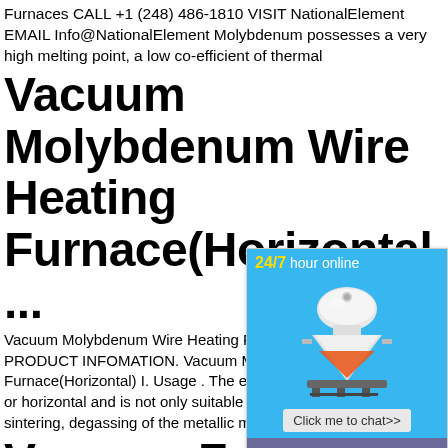Furnaces CALL +1 (248) 486-1810 VISIT NationalElement EMAIL Info@NationalElement Molybdenum possesses a very high melting point, a low co-efficient of thermal
Vacuum Molybdenum Wire Heating Furnace(Horizontal ...
Vacuum Molybdenum Wire Heating Furnace(Horizontal) PRODUCT INFOMATION. Vacuum Molybdenum Wire Heating Furnace(Horizontal) I. Usage . The electric or horizontal and is not only suitable for the sintering, degassing of the metallic materia
Vacuum Furnace Heating Elements - Vacaero
Apr 01, 2018 · Molybdenum. One of the mo element materials for vacuum furnaces is m refractory metal. Molybdenum (Fig. 10) tole temperatures, resists bending and cracking electrical conductor. It can be used up to 1 above which it becomes brittle and suscep
[Figure (infographic): Popup chat widget with '24/7 hour online' header in blue, image of industrial cone crusher machine, 'Click me to chat>>' button, 'Enquiry' section in purple-blue, and 'limingjlmofen' text on blue background]